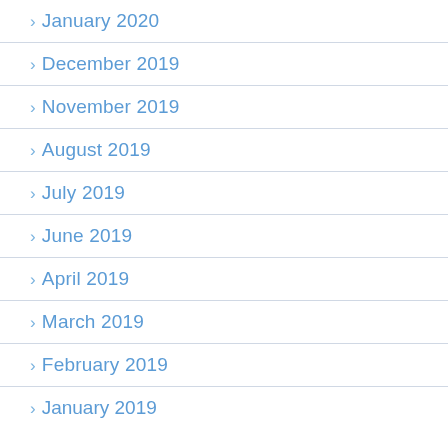January 2020
December 2019
November 2019
August 2019
July 2019
June 2019
April 2019
March 2019
February 2019
January 2019